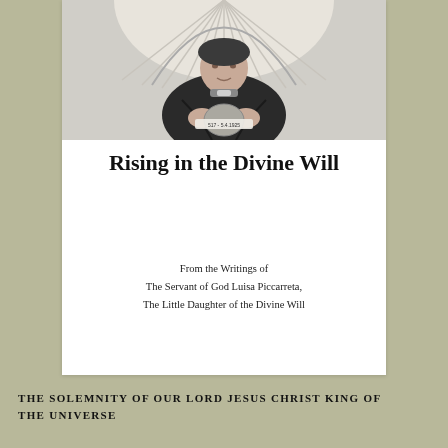[Figure (photo): Black and white photograph of an elderly woman wearing dark robes, seated, with a decorative architectural background featuring arched windows or a stained glass pattern. A small label appears in the lower center of the image reading '517 - 5.4.1925'.]
Rising in the Divine Will
From the Writings of
The Servant of God Luisa Piccarreta,
The Little Daughter of the Divine Will
THE SOLEMNITY OF OUR LORD JESUS CHRIST KING OF THE UNIVERSE